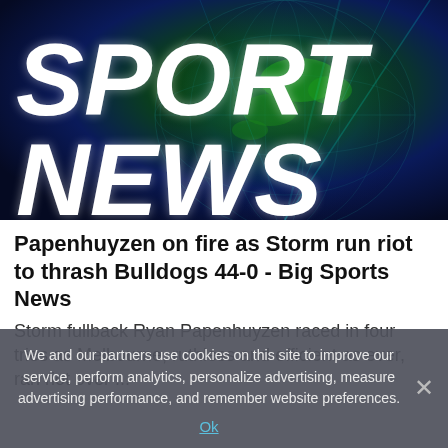[Figure (photo): Sport News graphic with dark blue and green background showing a world globe, with large bold italic white text reading 'SPORT' on top line and 'NEWS' below, with cyan/teal glow effects]
Papenhuyzen on fire as Storm run riot to thrash Bulldogs 44-0 - Big Sports News
Storm fullback Ryan Papenhuyzen raced in four tries as Melbourne, ruthless and efficient as ever, ran riot over ...
We and our partners use cookies on this site to improve our service, perform analytics, personalize advertising, measure advertising performance, and remember website preferences.